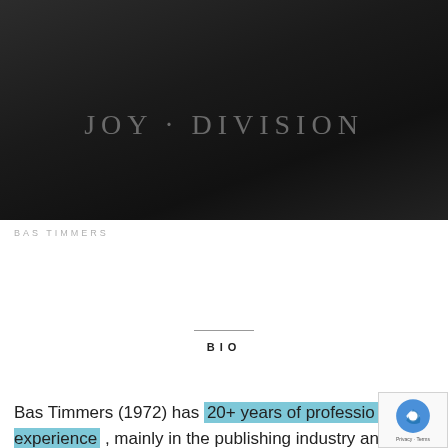[Figure (photo): Black and white close-up photo of a person wearing a dark t-shirt with 'JOY DIVISION' text printed on it]
BAS TIMMERS
BIO
Bas Timmers (1972) has 20+ years of professional experience , mainly in the publishing industry and